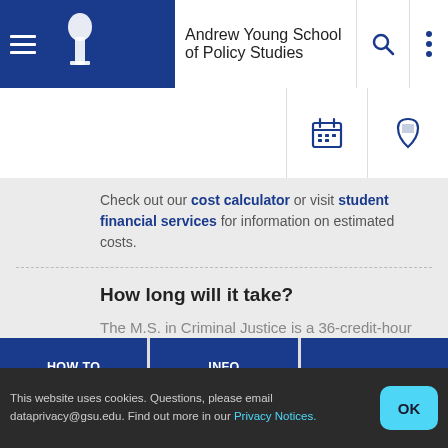Andrew Young School of Policy Studies
Check out our cost calculator or visit student financial services for information on estimated costs.
How long will it take?
The M.S. in Criminal Justice is a 36-credit-hour program that can be completed in two years with full time enrollment.
HOW TO APPLY
INFO REQUEST
INFO SESSION
This website uses cookies. Questions, please email dataprivacy@gsu.edu. Find out more in our Privacy Notices.